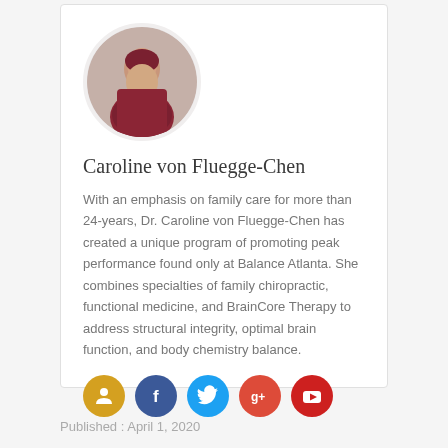[Figure (photo): Circular portrait photo of Dr. Caroline von Fluegge-Chen wearing a dark red/maroon top]
Caroline von Fluegge-Chen
With an emphasis on family care for more than 24-years, Dr. Caroline von Fluegge-Chen has created a unique program of promoting peak performance found only at Balance Atlanta. She combines specialties of family chiropractic, functional medicine, and BrainCore Therapy to address structural integrity, optimal brain function, and body chemistry balance.
[Figure (illustration): Row of 5 social media icon circles: person/profile (gold), Facebook (blue), Twitter (light blue), Google+ (red-orange), YouTube (red)]
Published : April 1, 2020